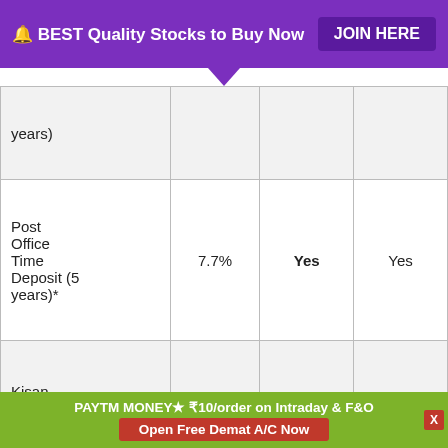🔔 BEST Quality Stocks to Buy Now  JOIN HERE
| Scheme | Interest Rate | Tax Benefit | 80C Benefit |
| --- | --- | --- | --- |
| years) |  |  |  |
| Post Office Time Deposit (5 years)* | 7.7% | Yes | Yes |
| Kisan Vikas Patra (KVP) | 7.6% | No | Yes |
| Public Provident |  |  |  |
PAYTM MONEY★ ₹10/order on Intraday & F&O  Open Free Demat A/C Now